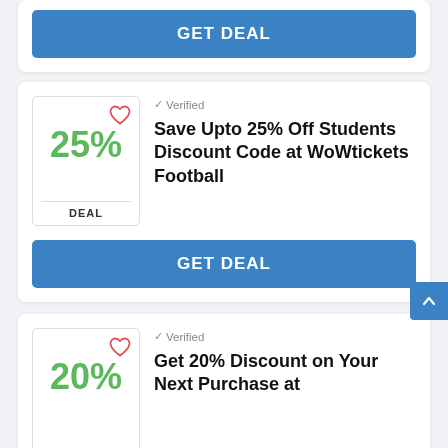[Figure (other): GET DEAL button (blue) at top of page, partial card]
✓ Verified
Save Upto 25% Off Students Discount Code at WoWtickets Football
[Figure (other): GET DEAL button (blue)]
✓ Verified
Get 20% Discount on Your Next Purchase at